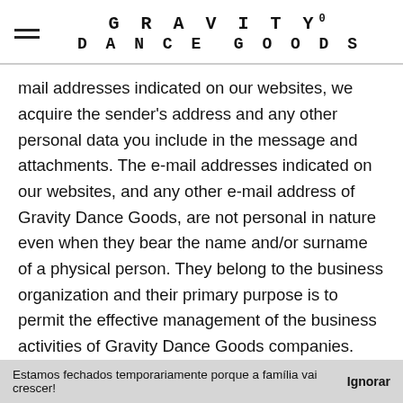GRAVITY° DANCE GOODS
mail addresses indicated on our websites, we acquire the sender's address and any other personal data you include in the message and attachments. The e-mail addresses indicated on our websites, and any other e-mail address of Gravity Dance Goods, are not personal in nature even when they bear the name and/or surname of a physical person. They belong to the business organization and their primary purpose is to permit the effective management of the business activities of Gravity Dance Goods companies. This means that any messages sent to the e-mail addresses of Gravity Dance Goods may be read by other people in the organization in addition to the addressee. When you send e-mail to the e-mail addresses indicated on our websites you declare that you have read and
Estamos fechados temporariamente porque a família vai crescer!  Ignorar